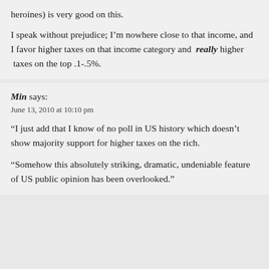heroines) is very good on this.
I speak without prejudice; I'm nowhere close to that income, and I favor higher taxes on that income category and really higher taxes on the top .1-.5%.
Min says:
June 13, 2010 at 10:10 pm
“I just add that I know of no poll in US history which doesn’t show majority support for higher taxes on the rich.
“Somehow this absolutely striking, dramatic, undeniable feature of US public opinion has been overlooked.”